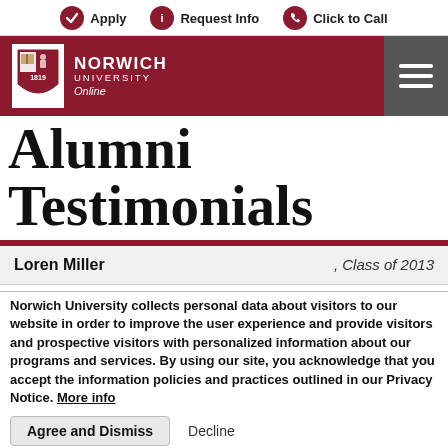Apply  Request Info  Click to Call
[Figure (logo): Norwich University Online logo with shield and text on dark red navigation bar with hamburger menu icon]
Alumni Testimonials
Loren Miller , Class of 2013
Norwich University collects personal data about visitors to our website in order to improve the user experience and provide visitors and prospective visitors with personalized information about our programs and services. By using our site, you acknowledge that you accept the information policies and practices outlined in our Privacy Notice. More info
Agree and Dismiss   Decline